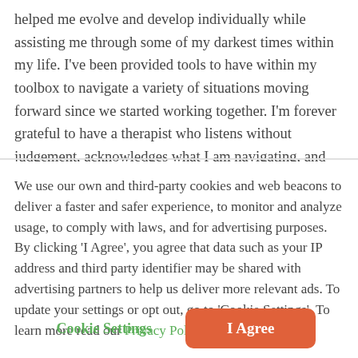helped me evolve and develop individually while assisting me through some of my darkest times within my life. I've been provided tools to have within my toolbox to navigate a variety of situations moving forward since we started working together. I'm forever grateful to have a therapist who listens without judgement, acknowledges what I am navigating, and provides assistance to get me through each step of the way.
We use our own and third-party cookies and web beacons to deliver a faster and safer experience, to monitor and analyze usage, to comply with laws, and for advertising purposes. By clicking 'I Agree', you agree that data such as your IP address and third party identifier may be shared with advertising partners to help us deliver more relevant ads. To update your settings or opt out, go to 'Cookie Settings'. To learn more read our Privacy Policy.